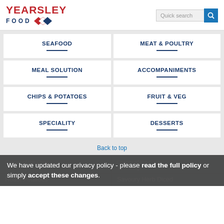[Figure (logo): Yearsley Food logo with red YEARSLEY text and blue FOOD text with diamond/chevron graphic]
[Figure (screenshot): Quick search box with blue search button]
SEAFOOD
MEAT & POULTRY
MEAL SOLUTION
ACCOMPANIMENTS
CHIPS & POTATOES
FRUIT & VEG
SPECIALITY
DESSERTS
Back to top
Cream of the Crop 10 x 800g
Cream of the Crop 10 x 800g
Roast Potatoes
Savoury Herb Diced
We have updated our privacy policy - please read the full policy or simply accept these changes.